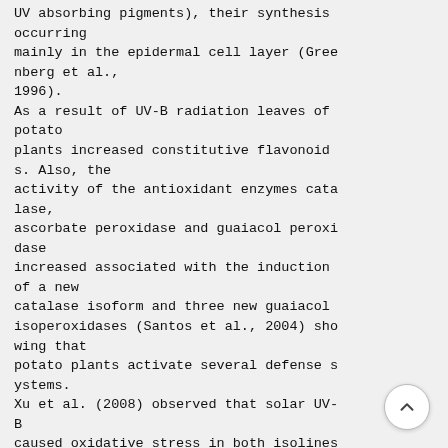UV absorbing pigments), their synthesis occurring mainly in the epidermal cell layer (Greenberg et al., 1996). As a result of UV-B radiation leaves of potato plants increased constitutive flavonoids. Also, the activity of the antioxidant enzymes catalase, ascorbate peroxidase and guaiacol peroxidase increased associated with the induction of a new catalase isoform and three new guaiacol isoperoxidases (Santos et al., 2004) showing that potato plants activate several defense systems. Xu et al. (2008) observed that solar UV-B caused oxidative stress in both isolines of soybean grown in the field (one with moderate le